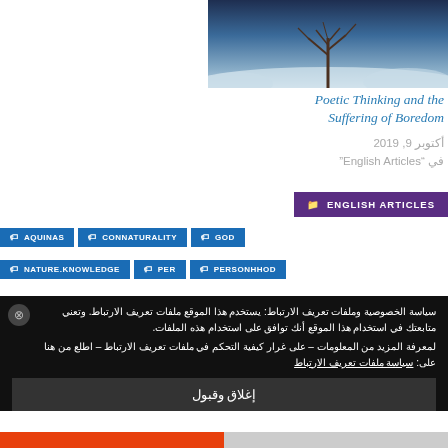[Figure (photo): Winter tree scene with snow-covered landscape and bare tree against a cold blue sky]
Poetic Thinking and the Suffering of Boredom
أكتوبر 9, 2019
في "English Articles"
ENGLISH ARTICLES
GOD
CONNATURALITY
AQUINAS
PERSONHHOD
PER
NATURE.KNOWLEDGE
سياسة الخصوصية وملفات تعريف الارتباط: يستخدم هذا الموقع ملفات تعريف الارتباط. وتعني متابعتك في استخدام هذا الموقع أنك توافق على استخدام هذه الملفات.
لمعرفة المزيد من المعلومات – على غرار كيفية التحكم في ملفات تعريف الارتباط – اطلع من هنا على: سياسة ملفات تعريف الارتباط
إغلاق وقبول